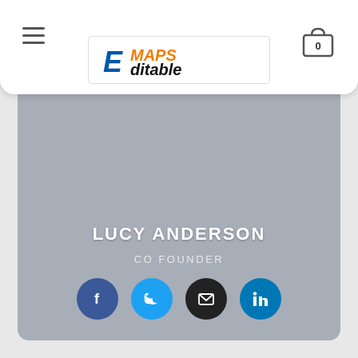E-Maps Editable website header with logo and cart
[Figure (logo): E-Maps Editable logo with stylized E, orange MAPS text and black ditable text]
[Figure (photo): Profile card with grey background showing person photo area, name LUCY ANDERSON, role CO FOUNDER, and social media icons for Facebook, Twitter, Email, LinkedIn]
LUCY ANDERSON
CO FOUNDER